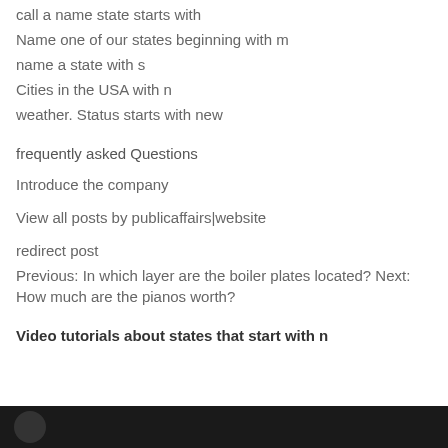call a name state starts with
Name one of our states beginning with m
name a state with s
Cities in the USA with n
weather. Status starts with new
frequently asked Questions
Introduce the company
View all posts by publicaffairs|website
redirect post
Previous: In which layer are the boiler plates located? Next: How much are the pianos worth?
Video tutorials about states that start with n
[Figure (screenshot): Dark video player bar at the bottom of the page]